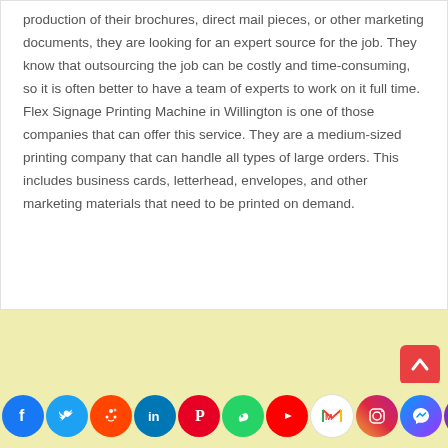production of their brochures, direct mail pieces, or other marketing documents, they are looking for an expert source for the job. They know that outsourcing the job can be costly and time-consuming, so it is often better to have a team of experts to work on it full time. Flex Signage Printing Machine in Willington is one of those companies that can offer this service. They are a medium-sized printing company that can handle all types of large orders. This includes business cards, letterhead, envelopes, and other marketing materials that need to be printed on demand.
[Figure (infographic): Social media sharing icons bar at the bottom: Facebook (blue), Twitter (light blue), Reddit (orange-red), LinkedIn (dark blue), Pinterest (red), WhatsApp (green), YouTube (red), Gmail (red), Instagram (purple-pink), Messenger (blue-purple), Yandex (red). Also a scroll-to-top red button above the bar.]